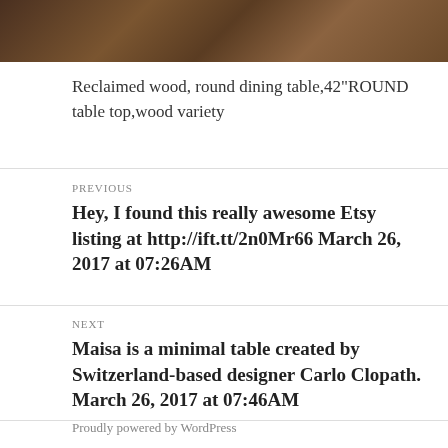[Figure (photo): Cropped photo of reclaimed wood surface with dark brown tones, wooden plank texture visible at top of page]
Reclaimed wood, round dining table,42"ROUND table top,wood variety
PREVIOUS
Hey, I found this really awesome Etsy listing at http://ift.tt/2n0Mr66 March 26, 2017 at 07:26AM
NEXT
Maisa is a minimal table created by Switzerland-based designer Carlo Clopath. March 26, 2017 at 07:46AM
Proudly powered by WordPress